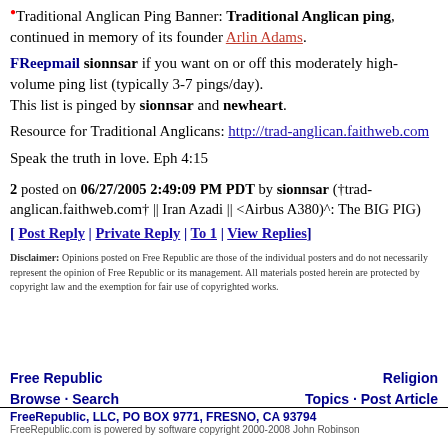Traditional Anglican Ping Banner: Traditional Anglican ping, continued in memory of its founder Arlin Adams.
FReepmail sionnsar if you want on or off this moderately high-volume ping list (typically 3-7 pings/day). This list is pinged by sionnsar and newheart.
Resource for Traditional Anglicans: http://trad-anglican.faithweb.com
Speak the truth in love. Eph 4:15
2 posted on 06/27/2005 2:49:09 PM PDT by sionnsar (†trad-anglican.faithweb.com† || Iran Azadi || <Airbus A380)^: The BIG PIG)
[ Post Reply | Private Reply | To 1 | View Replies]
Disclaimer: Opinions posted on Free Republic are those of the individual posters and do not necessarily represent the opinion of Free Republic or its management. All materials posted herein are protected by copyright law and the exemption for fair use of copyrighted works.
Free Republic   Browse · Search   Religion   Topics · Post Article   FreeRepublic, LLC, PO BOX 9771, FRESNO, CA 93794   FreeRepublic.com is powered by software copyright 2000-2008 John Robinson